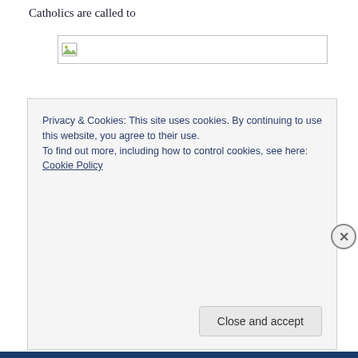Catholics are called to
[Figure (photo): Image placeholder with broken image icon and border]
Privacy & Cookies: This site uses cookies. By continuing to use this website, you agree to their use.
To find out more, including how to control cookies, see here: Cookie Policy
Close and accept